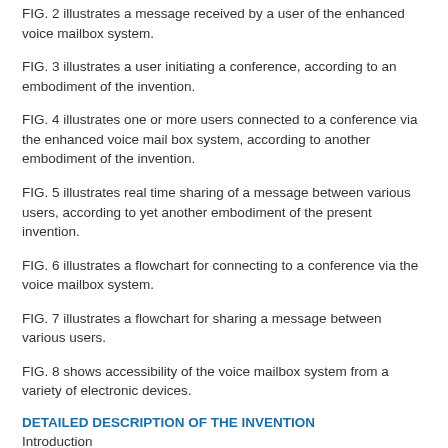FIG. 2 illustrates a message received by a user of the enhanced voice mailbox system.
FIG. 3 illustrates a user initiating a conference, according to an embodiment of the invention.
FIG. 4 illustrates one or more users connected to a conference via the enhanced voice mail box system, according to another embodiment of the invention.
FIG. 5 illustrates real time sharing of a message between various users, according to yet another embodiment of the present invention.
FIG. 6 illustrates a flowchart for connecting to a conference via the voice mailbox system.
FIG. 7 illustrates a flowchart for sharing a message between various users.
FIG. 8 shows accessibility of the voice mailbox system from a variety of electronic devices.
DETAILED DESCRIPTION OF THE INVENTION
Introduction
Today users of IP based voice services are inundated with information. Successful voice communication requires that voice messages be easily accessed and prioritized from different locations, over different networks,